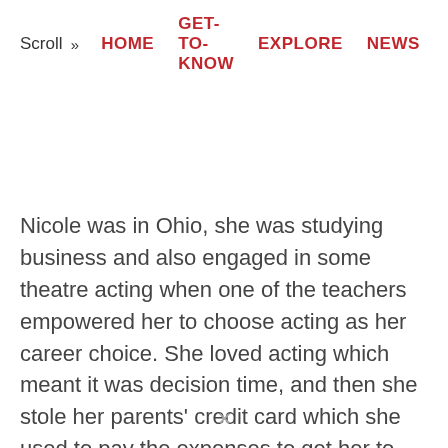Scroll » HOME  GET-TO-KNOW  EXPLORE  NEWS
Nicole was in Ohio, she was studying business and also engaged in some theatre acting when one of the teachers empowered her to choose acting as her career choice. She loved acting which meant it was decision time, and then she stole her parents' credit card which she used to pay the expenses to get her to NYU and